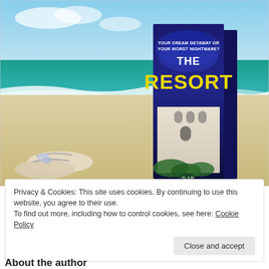[Figure (photo): Book cover of 'The Resort' with tagline 'YOUR DREAM GETAWAY OR YOUR WORST NIGHTMARE?' displayed on a beach scene with sandals in the foreground]
Privacy & Cookies: This site uses cookies. By continuing to use this website, you agree to their use.
To find out more, including how to control cookies, see here: Cookie Policy
Close and accept
About the author